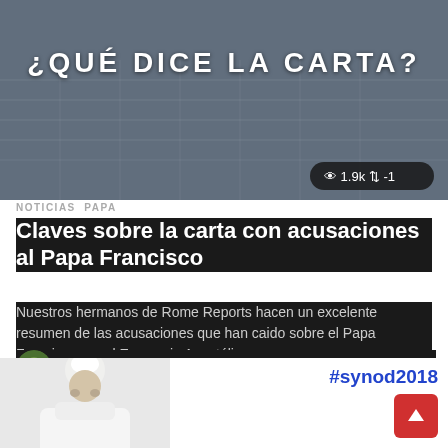[Figure (screenshot): Dark bluish-grey background with building/architectural imagery and text overlay '¿QUÉ DICE LA CARTA?' plus stats badge showing 1.9k views and -1]
¿QUÉ DICE LA CARTA?
👁 1.9k ↑↓ -1
NOTICIAS  PAPA
Claves sobre la carta con acusaciones al Papa Francisco
Nuestros hermanos de Rome Reports hacen un excelente resumen de las acusaciones que han caido sobre el Papa Francisco por el Ex nuncio Apostólico
by Lachus 4 años ago
[Figure (photo): Bottom section showing Pope Francis in white vestments on left, and #synod2018 hashtag with red up-arrow button on right]